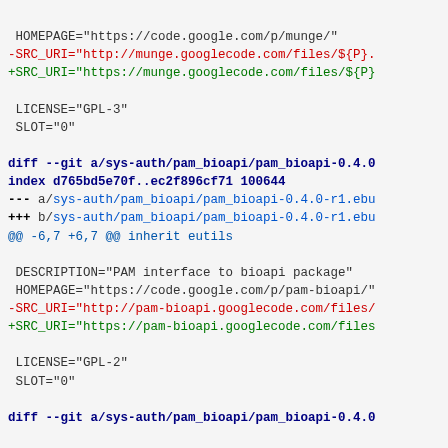HOMEPAGE="https://code.google.com/p/munge/"
-SRC_URI="http://munge.googlecode.com/files/${P}.
+SRC_URI="https://munge.googlecode.com/files/${P}

LICENSE="GPL-3"
SLOT="0"
diff --git a/sys-auth/pam_bioapi/pam_bioapi-0.4.0
index d765bd5e70f..ec2f896cf71 100644
--- a/sys-auth/pam_bioapi/pam_bioapi-0.4.0-r1.ebu
+++ b/sys-auth/pam_bioapi/pam_bioapi-0.4.0-r1.ebu
@@ -6,7 +6,7 @@ inherit eutils
DESCRIPTION="PAM interface to bioapi package"
HOMEPAGE="https://code.google.com/p/pam-bioapi/"
-SRC_URI="http://pam-bioapi.googlecode.com/files/
+SRC_URI="https://pam-bioapi.googlecode.com/files

LICENSE="GPL-2"
SLOT="0"
diff --git a/sys-auth/pam_bioapi/pam_bioapi-0.4.0